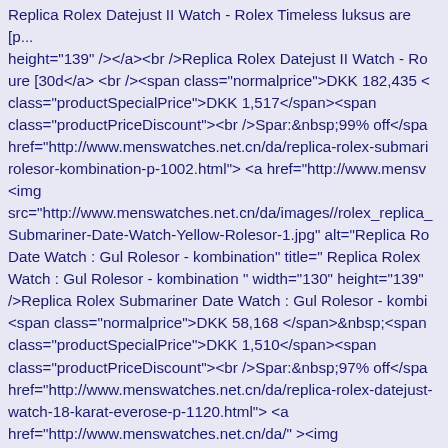Replica Rolex Datejust II Watch - Rolex Timeless luksus are [p... height="139" /></a><br />Replica Rolex Datejust II Watch - Ro ure [30d</a> <br /><span class="normalprice">DKK 182,435 < class="productSpecialPrice">DKK 1,517</span><span class="productPriceDiscount"><br />Spar:&nbsp;99% off</spa href="http://www.menswatches.net.cn/da/replica-rolex-submari rolesor-kombination-p-1002.html"> <a href="http://www.mensv <img src="http://www.menswatches.net.cn/da/images//rolex_replica_ Submariner-Date-Watch-Yellow-Rolesor-1.jpg" alt="Replica Ro Date Watch : Gul Rolesor - kombination" title=" Replica Rolex Watch : Gul Rolesor - kombination " width="130" height="139" />Replica Rolex Submariner Date Watch : Gul Rolesor - kombi <span class="normalprice">DKK 58,168 </span>&nbsp;<span class="productSpecialPrice">DKK 1,510</span><span class="productPriceDiscount"><br />Spar:&nbsp;97% off</spa href="http://www.menswatches.net.cn/da/replica-rolex-datejust- watch-18-karat-everose-p-1120.html"> <a href="http://www.menswatches.net.cn/da/" ><img src="http://www.menswatches.net.cn/da/images//rolex_replica_ Special/Rolex-Datejust-Special-Edition-Watch-18-ct-3.jpg" alt= Datejust Special Edition Watch : 18 karat Everose" title=" Repli Special Edition Watch : 18 karat Everose " width="130" height= />Replica Rolex Datejust Special Edition Watch : 18 karat Ever class="normalprice">DKK 89,718 </span>&nbsp;<span class="productSpecialPrice">DKK 1,559</span><span